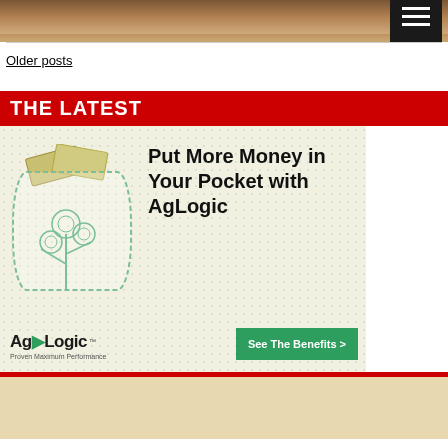[Figure (photo): Partial top photo showing wooden gavel or similar wooden object on a desk, cropped at top]
Older posts
THE LATEST
[Figure (illustration): AgLogic advertisement: 'Put More Money in Your Pocket with AgLogic' with cotton plant pocket illustration, rolled dollar bills, AgLogic logo, and green 'See The Benefits >' button]